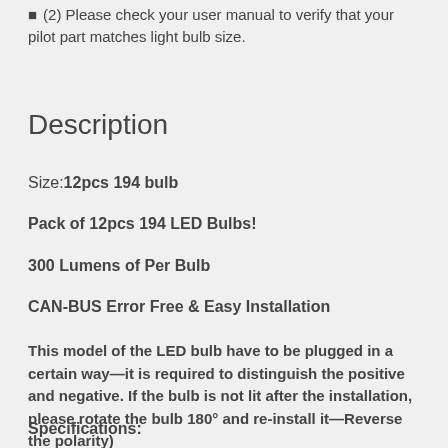(2) Please check your user manual to verify that your pilot part matches light bulb size.
Description
Size: 12pcs 194 bulb
Pack of 12pcs 194 LED Bulbs!
300 Lumens of Per Bulb
CAN-BUS Error Free & Easy Installation
This model of the LED bulb have to be plugged in a certain way—it is required to distinguish the positive and negative. If the bulb is not lit after the installation, please rotate the bulb 180° and re-install it—Reverse the polarity)
Specifications: